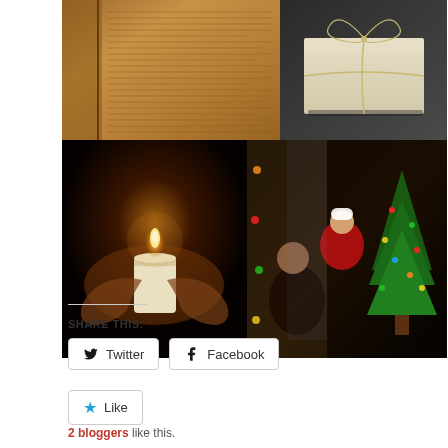[Figure (photo): Collage of four holiday/winter photos: open book, wrapped gift, hands holding candle, person with child by Christmas tree]
SHARE THIS:
[Figure (illustration): Twitter share button]
[Figure (illustration): Facebook share button]
[Figure (illustration): Like button with star icon]
2 bloggers like this.